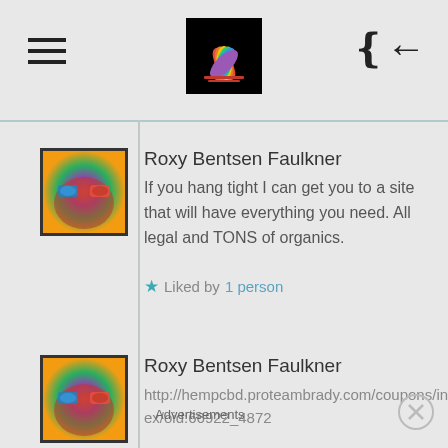[Figure (screenshot): App header with hamburger menu icon on left, colorful lotus logo centered on black background, and back arrow icon on right]
Roxy Bentsen Faulkner
If you hang tight I can get you to a site that will have everything you need. All legal and TONS of organics.
Liked by 1 person
Roxy Bentsen Faulkner
http://hempcbd.proteambrady.com/coupons/index/oid:66922_4872
Like
Advertisements